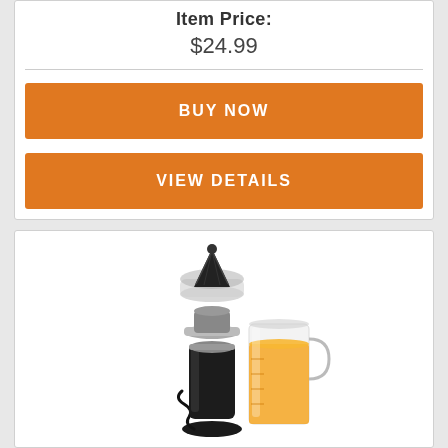Item Price:
$24.99
BUY NOW
VIEW DETAILS
[Figure (photo): Black electric citrus juicer with a reamer cone on top and a clear measuring cup filled with orange juice beside it]